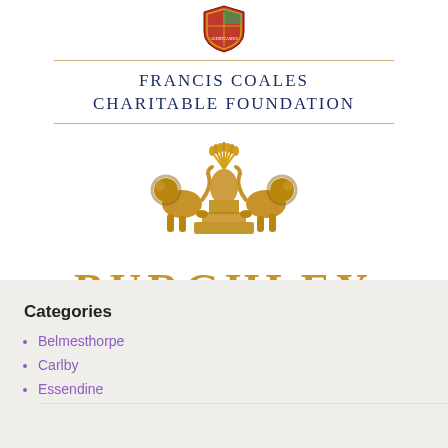[Figure (logo): Small circular heraldic crest/shield logo at top center]
Francis Coales Charitable Foundation
[Figure (illustration): Burghley heraldic crest: two golden lions flanking a central sheaf of wheat on a pedestal, rendered as a golden metallic sculpture]
BURGHLEY
Categories
Belmesthorpe
Carlby
Essendine